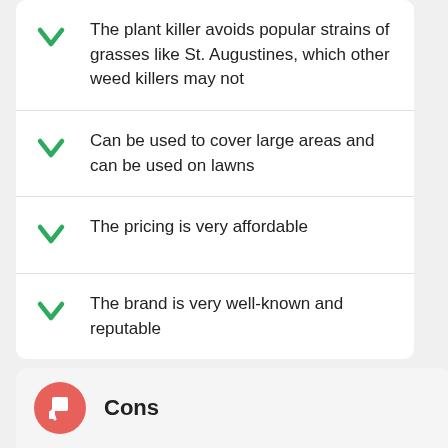The plant killer avoids popular strains of grasses like St. Augustines, which other weed killers may not
Can be used to cover large areas and can be used on lawns
The pricing is very affordable
The brand is very well-known and reputable
Cons